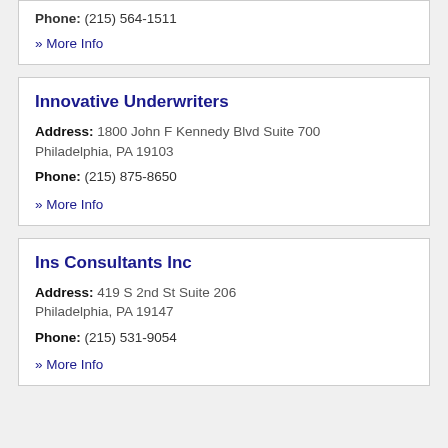Phone: (215) 564-1511
» More Info
Innovative Underwriters
Address: 1800 John F Kennedy Blvd Suite 700 Philadelphia, PA 19103
Phone: (215) 875-8650
» More Info
Ins Consultants Inc
Address: 419 S 2nd St Suite 206 Philadelphia, PA 19147
Phone: (215) 531-9054
» More Info